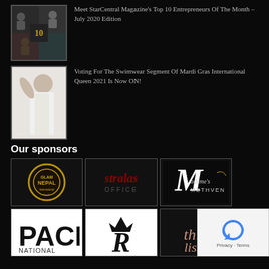[Figure (photo): Collage of people thumbnail image for StarCentral Magazine Top 10 Entrepreneurs article]
Meet StarCentral Magazine's Top 10 Entrepreneurs Of The Month – July 2020 Edition
[Figure (photo): Woman in white dress thumbnail for Mardi Gras International Queen voting article]
Voting For The Swimwear Segment Of Mardi Gras International Queen 2021 Is Now ON!
Our sponsors
[Figure (logo): Glam Nepal International logo - circular gold emblem]
[Figure (logo): Stralas Office logo - red text on dark background]
[Figure (logo): Madame Methven logo - script M with cursive text]
[Figure (logo): PACIF National logo - black and white lettering]
[Figure (logo): R logo - stylized crown R]
[Figure (logo): Thin Lizzy logo - script text in rose gold]
[Figure (screenshot): Google reCAPTCHA badge - Privacy Terms]